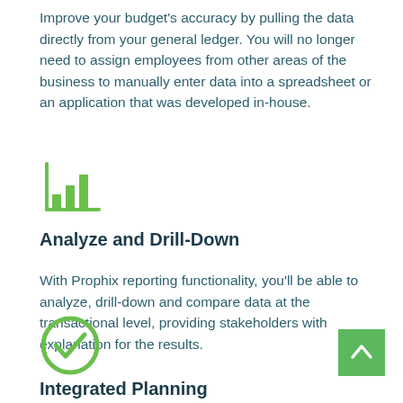Improve your budget's accuracy by pulling the data directly from your general ledger. You will no longer need to assign employees from other areas of the business to manually enter data into a spreadsheet or an application that was developed in-house.
[Figure (illustration): Green bar chart icon with vertical bars of increasing height inside an L-shaped axis frame]
Analyze and Drill-Down
With Prophix reporting functionality, you'll be able to analyze, drill-down and compare data at the transactional level, providing stakeholders with explanation for the results.
[Figure (illustration): Green circle with a white checkmark inside]
[Figure (illustration): Green square back-to-top button with white upward arrow]
Integrated Planning